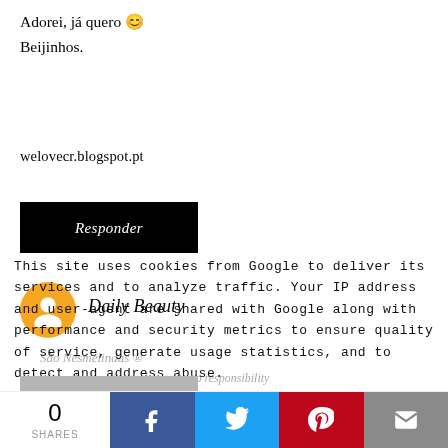Adorei, já quero 😊
Beijinhos.
welovecr.blogspot.pt
Responder
Daily Beauty
São Nesmelindas ®
of regular quality, and accepts no responsibility
This site uses cookies from Google to deliver its services and to analyze traffic. Your IP address and user-agent are shared with Google along with performance and security metrics to ensure quality of service, generate usage statistics, and to detect and address abuse.
Responder
0
SHARES